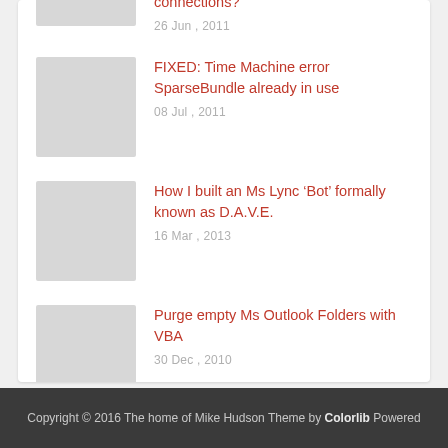connections?
26 Jun , 2011
FIXED: Time Machine error SparseBundle already in use
08 Jul , 2011
How I built an Ms Lync ‘Bot’ formally known as D.A.V.E.
16 Mar , 2013
Purge empty Ms Outlook Folders with VBA
30 Dec , 2010
Copyright © 2016 The home of Mike Hudson Theme by Colorlib Powered